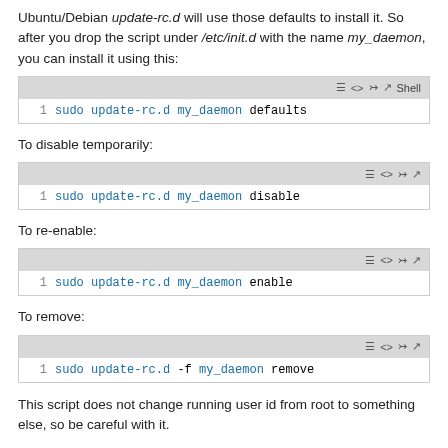Ubuntu/Debian update-rc.d will use those defaults to install it. So after you drop the script under /etc/init.d with the name my_daemon, you can install it using this:
1  sudo update-rc.d my_daemon defaults
To disable temporarily:
1  sudo update-rc.d my_daemon disable
To re-enable:
1  sudo update-rc.d my_daemon enable
To remove:
1  sudo update-rc.d -f my_daemon remove
This script does not change running user id from root to something else, so be careful with it.
To start up the daemon, run: